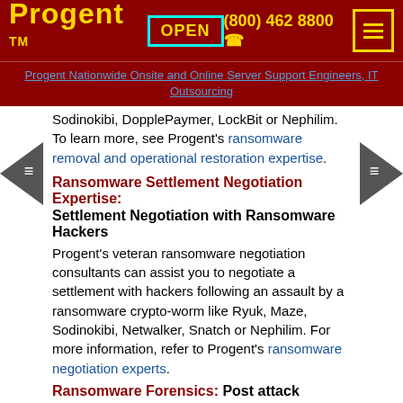Progent™  OPEN  (800) 462 8800  ☎
Progent Nationwide Onsite and Online Server Support Engineers, IT Outsourcing
Sodinokibi, DopplePaymer, LockBit or Nephilim. To learn more, see Progent's ransomware removal and operational restoration expertise.
Ransomware Settlement Negotiation Expertise:
Settlement Negotiation with Ransomware Hackers
Progent's veteran ransomware negotiation consultants can assist you to negotiate a settlement with hackers following an assault by a ransomware crypto-worm like Ryuk, Maze, Sodinokibi, Netwalker, Snatch or Nephilim. For more information, refer to Progent's ransomware negotiation experts.
Ransomware Forensics: Post attack